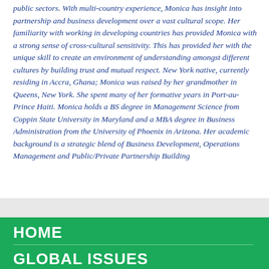public sectors. With multi-country experience, Monica has insight into partnership and business development over a vast cultural scope. Her familiarity with working in developing countries has provided Monica with a strong sense of cross-cultural sensitivity. This has provided her with the unique skill to create an environment of understanding amongst different cultures by building trust and mutual respect. New York native, currently residing in Accra, Ghana; Monica was raised by her grandmother in Queens, New York. She spent many of her formative years in Port-au-Prince Haiti. Monica holds a BS degree in Management Science from Coppin State University in Maryland and a MBA degree in Business Administration from the University of Phoenix in Arizona. Her academic background is a strategic blend of Business Development, Operations Management and Public/Private Partnership Building
HOME
GLOBAL ISSUES